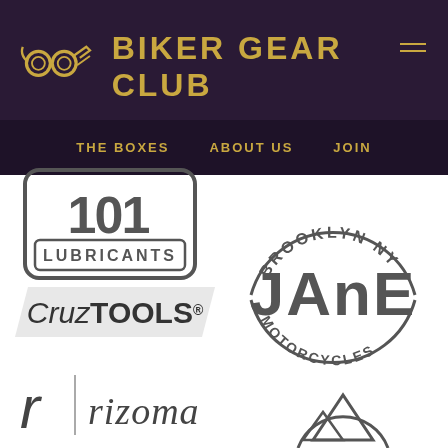[Figure (logo): Biker Gear Club logo with goggles and motorcycle icon in gold on dark purple header]
THE BOXES   ABOUT US   JOIN
[Figure (logo): 101 Lubricants logo - rounded rectangle badge with '101' and 'LUBRICANTS' text in grey]
[Figure (logo): CruzTOOLS logo - parallelogram shape with italic Cruz and bold TOOLS text]
[Figure (logo): Brooklyn NY Jane Motorcycles circular badge logo in dark grey]
[Figure (logo): Rizoma logo with stylized R icon and italic rizoma text]
[Figure (logo): Partial mountain/circular logo in dark grey at bottom right]